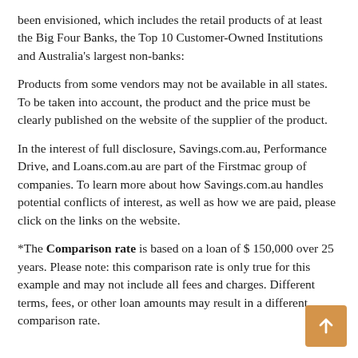been envisioned, which includes the retail products of at least the Big Four Banks, the Top 10 Customer-Owned Institutions and Australia's largest non-banks:
Products from some vendors may not be available in all states. To be taken into account, the product and the price must be clearly published on the website of the supplier of the product.
In the interest of full disclosure, Savings.com.au, Performance Drive, and Loans.com.au are part of the Firstmac group of companies. To learn more about how Savings.com.au handles potential conflicts of interest, as well as how we are paid, please click on the links on the website.
*The Comparison rate is based on a loan of $ 150,000 over 25 years. Please note: this comparison rate is only true for this example and may not include all fees and charges. Different terms, fees, or other loan amounts may result in a different comparison rate.